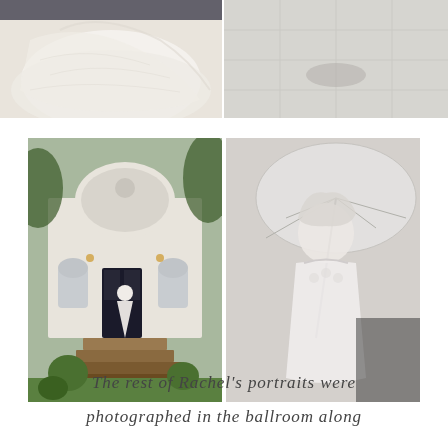[Figure (photo): Top-left wedding photo: white wedding dress laid out, soft and airy]
[Figure (photo): Top-right wedding photo: light gray tile floor with shoes/accessories]
[Figure (photo): Bottom-left photo: bride in white gown standing at entrance of white house with arched doorway, brick steps and lush green shrubs]
[Figure (photo): Bottom-right black and white photo: close-up of bride in strapless wedding dress holding clear umbrella]
The rest of Rachel's portraits were photographed in the ballroom along